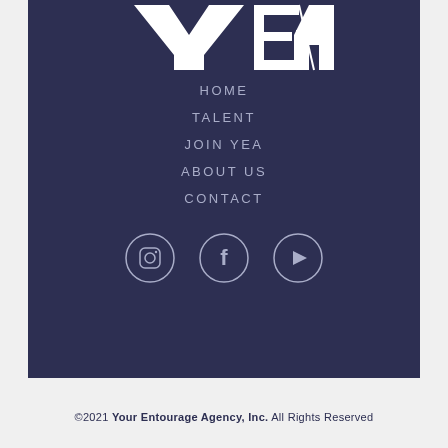[Figure (logo): YEA logo - white stylized letters on dark navy background]
HOME
TALENT
JOIN YEA
ABOUT US
CONTACT
[Figure (illustration): Social media icons in circles: Instagram, Facebook, YouTube]
©2021 Your Entourage Agency, Inc. All Rights Reserved